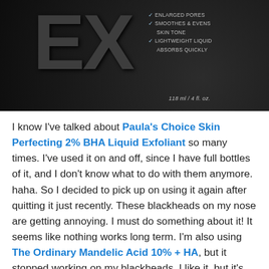[Figure (photo): Photo of Paula's Choice Skin Perfecting 2% BHA Liquid Exfoliant bottle (dark/black bottle) on a dark textured background. Bottle shows EX logo and text listing benefits: Enlarges Pores, Smoothes & Evens Skin Tone, Lightweight Liquid Absorbs Quickly. Volume: 118 ml / 4 fl oz.]
I know I've talked about Paula's Choice Skin Perfecting 2% BHA Liquid Exfoliant so many times. I've used it on and off, since I have full bottles of it, and I don't know what to do with them anymore. haha. So I decided to pick up on using it again after quitting it just recently. These blackheads on my nose are getting annoying. I must do something about it! It seems like nothing works long term. I'm also using The Ordinary Mandelic Acid 10% + HA, but it stopped working on my blackheads. I like it, but it's just not working anymore. I'll talk more about The Ordinary Mandelic Acid 10% + HA another time. Now let's focus on Paula's Choice Skin Perfecting 2% BHA Liquid Exfoliant! Read on! 🙂